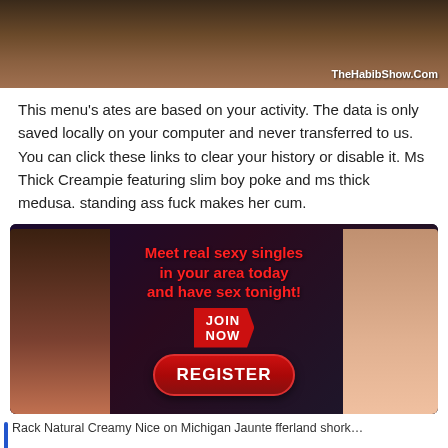[Figure (photo): Close-up photo of skin/body with watermark 'TheHabibShow.Com' in white text at bottom right]
This menu's ates are based on your activity. The data is only saved locally on your computer and never transferred to us. You can click these links to clear your history or disable it. Ms Thick Creampie featuring slim boy poke and ms thick medusa. standing ass fuck makes her cum.
[Figure (infographic): Advertisement banner with two women in bikinis on the left and right sides. Center text in red bold: 'Meet real sexy singles in your area today and have sex tonight!' with a JOIN NOW arrow button and a red REGISTER pill button below.]
Rack Natural Creamy Nice on Michigan Jaunte fferland shork...